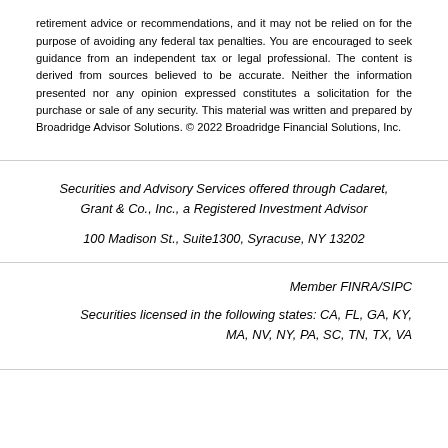retirement advice or recommendations, and it may not be relied on for the purpose of avoiding any federal tax penalties. You are encouraged to seek guidance from an independent tax or legal professional. The content is derived from sources believed to be accurate. Neither the information presented nor any opinion expressed constitutes a solicitation for the purchase or sale of any security. This material was written and prepared by Broadridge Advisor Solutions. © 2022 Broadridge Financial Solutions, Inc.
Securities and Advisory Services offered through Cadaret, Grant & Co., Inc., a Registered Investment Advisor
100 Madison St., Suite1300, Syracuse, NY 13202
Member FINRA/SIPC
Securities licensed in the following states: CA, FL, GA, KY, MA, NV, NY, PA, SC, TN, TX, VA